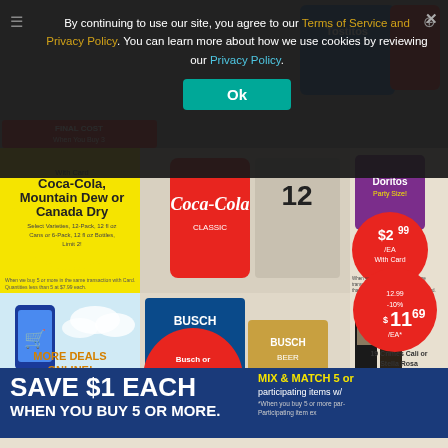By continuing to use our site, you agree to our Terms of Service and Privacy Policy. You can learn more about how we use cookies by reviewing our Privacy Policy.
Ok
[Figure (screenshot): Kroger weekly ad flyer showing grocery deals including Coca-Cola/Mountain Dew/Canada Dry 3/$12.88, Doritos $2.99/EA with Card, Busch or Busch Light $20.99 for 30-pack, 19 Crimes Cali or Stella Rosa $11.69/EA, Save $1 Each when you buy 5 or more mix & match, Breyers ice cream 3.99-1.00, Seattle's Best Coffee $3.99/EA, Ben & Jerry's, Ken's dressing. More Deals Online banner with shopping cart icon.]
FINAL COST When You Buy 3
3/$12.88
With Card
Coca-Cola, Mountain Dew or Canada Dry
Select Varieties, 12-Pack, 12 fl oz Cans or 6-Pack, 12 fl oz Bottles, Limit 2!
Doritos
Party Size!
$2.99 /EA With Card
When you buy 2 or more in the same transaction with Card. Quantities less than 2 are priced at $5.49 each with Card.
MORE DEALS ONLINE!
Visit our App or Kroger.com/WeeklyAd to find even more on sale!
Busch or Busch Light
$20.99
Select Varieties, 30-Pack, 12 fl oz Cans
12.99
-10%
$11.69 /EA*
19 Crimes Cali or Stella Rosa
Select Varieties, 750 ml
*See inside for details.
SAVE $1 EACH
WHEN YOU BUY 5 OR MORE.
MIX & MATCH 5 or more participating items w/
*When you buy 5 or more participating items w/
Participating item ex
3.99
-1.00
Breyers
Natural Vanilla
4.99 With Card
-1.00
$3.99 /EA*
Seattle's Best Coffee
12 oz Bag or K-Cups, 10 ct Select Varieties
Ken's
16 fl oz,
24 oz or 1
or Hein-